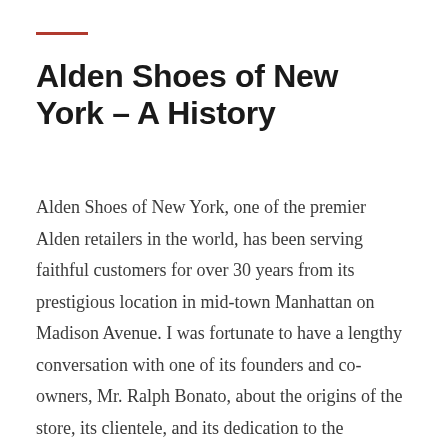Alden Shoes of New York – A History
Alden Shoes of New York, one of the premier Alden retailers in the world, has been serving faithful customers for over 30 years from its prestigious location in mid-town Manhattan on Madison Avenue. I was fortunate to have a lengthy conversation with one of its founders and co-owners, Mr. Ralph Bonato, about the origins of the store, its clientele, and its dedication to the